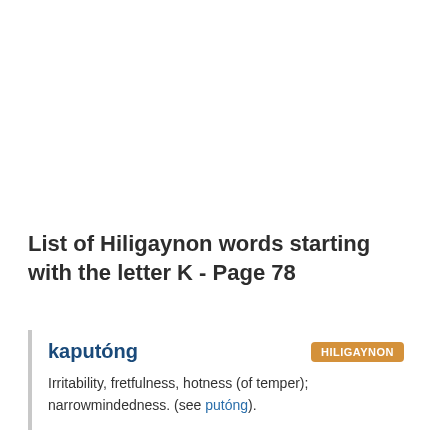List of Hiligaynon words starting with the letter K - Page 78
kaputóng
Irritability, fretfulness, hotness (of temper); narrowmindedness. (see putóng).